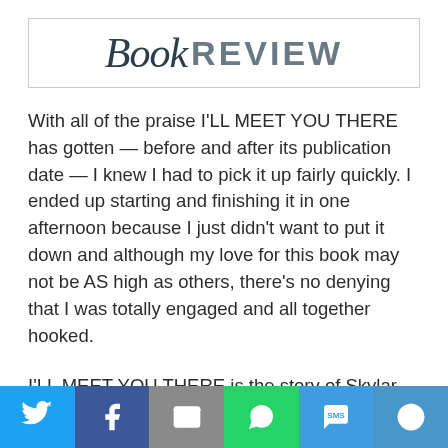Book REVIEW
With all of the praise I'LL MEET YOU THERE has gotten — before and after its publication date — I knew I had to pick it up fairly quickly. I ended up starting and finishing it in one afternoon because I just didn't want to put it down and although my love for this book may not be AS high as others, there's no denying that I was totally engaged and all together hooked.
I'LL MEET YOU THERE is the story of Skylar who has just graduated high school and is dying to get out of her middle-of-nowhere town — that is, until her mother falls off the wagon again and she's not sure if she can leave her alone. Josh has just
[Figure (infographic): Social sharing bar with icons for Twitter, Facebook, Email, WhatsApp, SMS, and More]